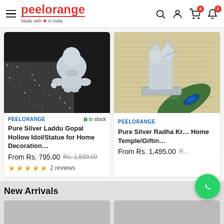peelorange — Made with love in India
[Figure (photo): Silver Laddu Gopal hollow idol/statue product photo on black glittery background]
PEELORANGE   In stock
Pure Silver Laddu Gopal Hollow Idol/Statue for Home Decoration...
From Rs. 795.00  Rs. 1,599.00
★★★★★  2 reviews
[Figure (photo): Silver Radha Krishna idol on newspaper with peacock feather — partial view]
PEELORANGE
Pure Silver Radha Kr... Home Temple/Giftin...
From Rs. 1,495.00  R...
New Arrivals
Save 72%
Save 73%